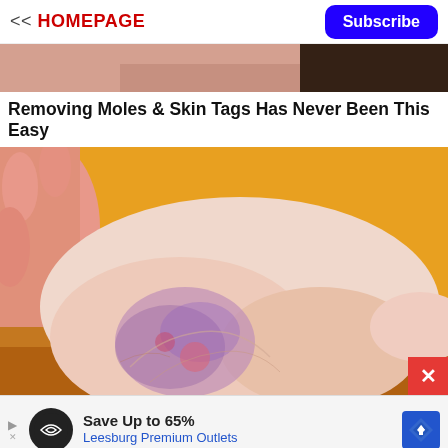<< HOMEPAGE | Subscribe
[Figure (photo): Partial view of a woman's face/hair at top of article]
Removing Moles & Skin Tags Has Never Been This Easy
[Figure (photo): Close-up photo of a human ankle/foot showing skin discoloration and veins on a yellow background, with a hand touching the foot]
[Figure (other): Advertisement banner: Save Up to 65% Leesburg Premium Outlets with logo and navigation arrow]